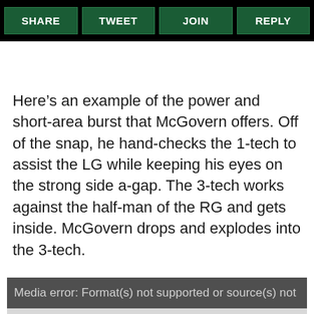SHARE | TWEET | JOIN | REPLY
Here’s an example of the power and short-area burst that McGovern offers. Off of the snap, he hand-checks the 1-tech to assist the LG while keeping his eyes on the strong side a-gap. The 3-tech works against the half-man of the RG and gets inside. McGovern drops and explodes into the 3-tech.
[Figure (screenshot): Media error bar showing 'Media error: Format(s) not supported or source(s) not found', followed by a gray video player area below]